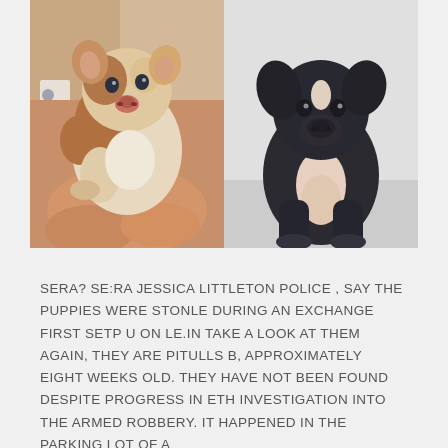[Figure (photo): Two puppies side by side. Left: a brown and white pitbull puppy being held in a human hand, against a bathroom background. Right: a dark (black/grey) Doberman/pitbull mix puppy sitting upright against a light grey wall.]
SERA? SE:RA JESSICA LITTLETON POLICE , SAY THE PUPPIES WERE STONLE DURING AN EXCHANGE FIRST SETP U ON LE.IN TAKE A LOOK AT THEM AGAIN, THEY ARE PITULLS B, APPROXIMATELY EIGHT WEEKS OLD. THEY HAVE NOT BEEN FOUND DESPITE PROGRESS IN ETH INVESTIGATION INTO THE ARMED ROBBERY. IT HAPPENED IN THE PARKING LOT OF A